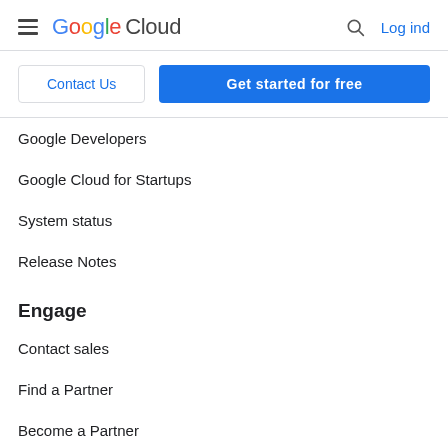Google Cloud | Log ind
Contact Us
Get started for free
Google Developers
Google Cloud for Startups
System status
Release Notes
Engage
Contact sales
Find a Partner
Become a Partner
Events
Podcasts